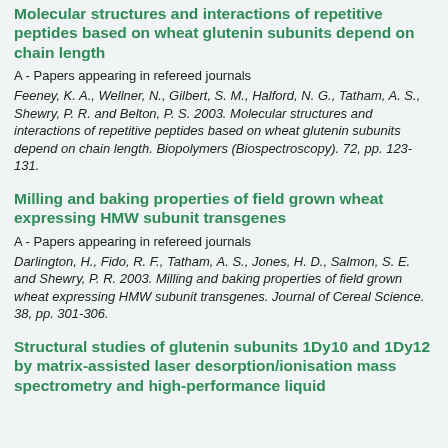Molecular structures and interactions of repetitive peptides based on wheat glutenin subunits depend on chain length
A - Papers appearing in refereed journals
Feeney, K. A., Wellner, N., Gilbert, S. M., Halford, N. G., Tatham, A. S., Shewry, P. R. and Belton, P. S. 2003. Molecular structures and interactions of repetitive peptides based on wheat glutenin subunits depend on chain length. Biopolymers (Biospectroscopy). 72, pp. 123-131.
Milling and baking properties of field grown wheat expressing HMW subunit transgenes
A - Papers appearing in refereed journals
Darlington, H., Fido, R. F., Tatham, A. S., Jones, H. D., Salmon, S. E. and Shewry, P. R. 2003. Milling and baking properties of field grown wheat expressing HMW subunit transgenes. Journal of Cereal Science. 38, pp. 301-306.
Structural studies of glutenin subunits 1Dy10 and 1Dy12 by matrix-assisted laser desorption/ionisation mass spectrometry and high-performance liquid